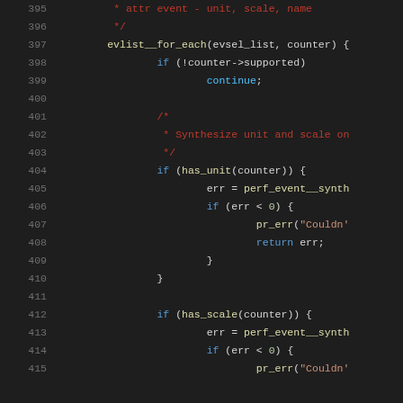[Figure (screenshot): Source code snippet in a dark-themed code editor showing C code lines 395-415 with syntax highlighting. Comments in red, keywords in blue, strings in orange, variables in light blue.]